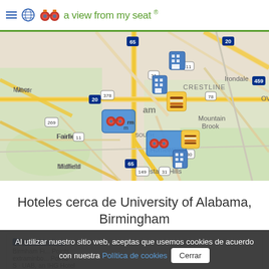a view from my seat ®
[Figure (map): Google Maps view of Birmingham, Alabama area showing hotel and venue markers near University of Alabama Birmingham (UAB). Map shows surrounding areas including Irondale, Crestline, Mountain Brook, Homewood, Vestavia Hills, Midfield, Fairfield. Interstate highways 20, 65, 78, 11, 280 visible. Several map markers shown including binoculars icons (venue markers) and building icons (hotel markers).]
Hoteles cerca de University of Alabama, Birmingham
Hotel Indigo
Al utilizar nuestro sitio web, aceptas que usemos cookies de acuerdo con nuestra Política de cookies  Cerrar